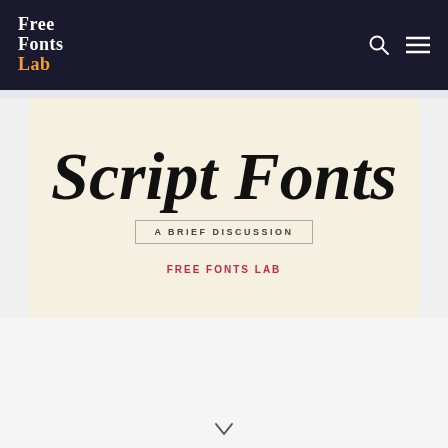Free Fonts Lab
Script Fonts
A BRIEF DISCUSSION
FREE FONTS LAB